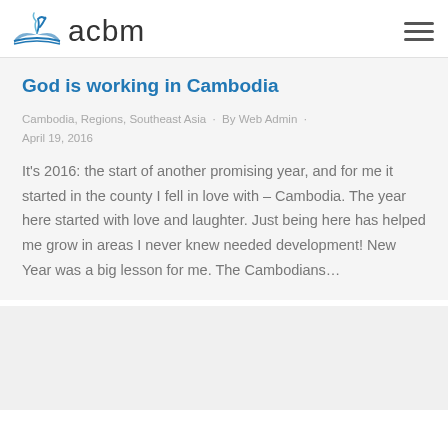acbm
God is working in Cambodia
Cambodia, Regions, Southeast Asia · By Web Admin · April 19, 2016
It's 2016: the start of another promising year, and for me it started in the county I fell in love with – Cambodia. The year here started with love and laughter. Just being here has helped me grow in areas I never knew needed development! New Year was a big lesson for me. The Cambodians…